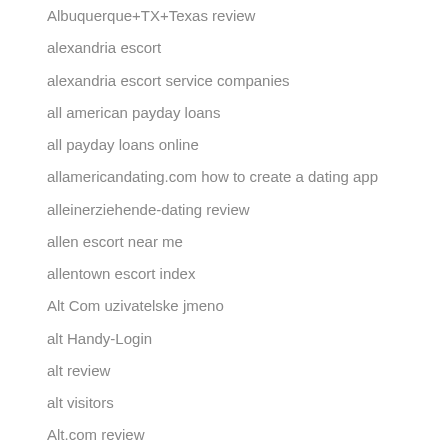Albuquerque+TX+Texas review
alexandria escort
alexandria escort service companies
all american payday loans
all payday loans online
allamericandating.com how to create a dating app
alleinerziehende-dating review
allen escort near me
allentown escort index
Alt Com uzivatelske jmeno
alt Handy-Login
alt review
alt visitors
Alt.com review
Alternatieve dating site